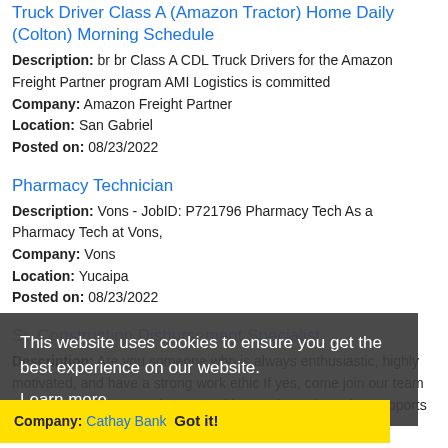Truck Driver Class A (Amazon Tractor) Home Daily (Colton) Morning Schedule
Description: br br Class A CDL Truck Drivers for the Amazon Freight Partner program AMI Logistics is committed Company: Amazon Freight Partner Location: San Gabriel Posted on: 08/23/2022
Pharmacy Technician
Description: Vons - JobID: P721796 Pharmacy Tech As a Pharmacy Tech at Vons, Company: Vons Location: Yucaipa Posted on: 08/23/2022
Sr. Construction Disbursement Specialist
Description: Are you someone who is always enthusiastic, highly motivated, and have a strong work ethic If yes, come join our team At Cathay Bank - we strive to provide a caring culture that supports your aspirations (more...) Company: Cathay Bank Location: Rosemead Posted on: 08/23/2022